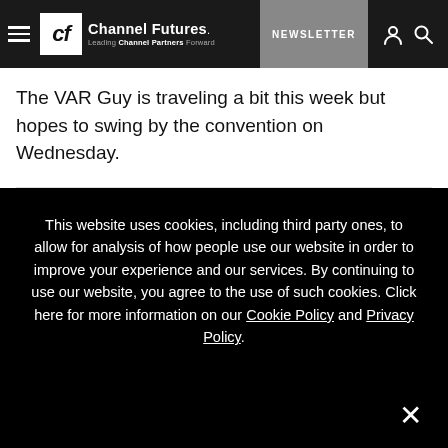Channel Futures — Leading Channel Partners Forward | NEWSLETTER
The VAR Guy is traveling a bit this week but hopes to swing by the convention on Wednesday.
[Figure (photo): Sponsored content thumbnail showing a person in front of a digital display]
SPONSORED CONTENT
Comcast Business and Masergy Help to Enable Digital
This website uses cookies, including third party ones, to allow for analysis of how people use our website in order to improve your experience and our services. By continuing to use our website, you agree to the use of such cookies. Click here for more information on our Cookie Policy and Privacy Policy.